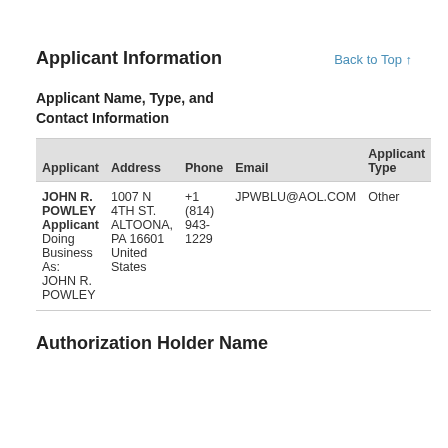Applicant Information
Back to Top ↑
Applicant Name, Type, and Contact Information
| Applicant | Address | Phone | Email | Applicant Type |
| --- | --- | --- | --- | --- |
| JOHN R. POWLEY
Applicant
Doing Business As:
JOHN R. POWLEY | 1007 N 4TH ST.
ALTOONA, PA 16601
United States | +1 (814) 943-1229 | JPWBLU@AOL.COM | Other |
Authorization Holder Name